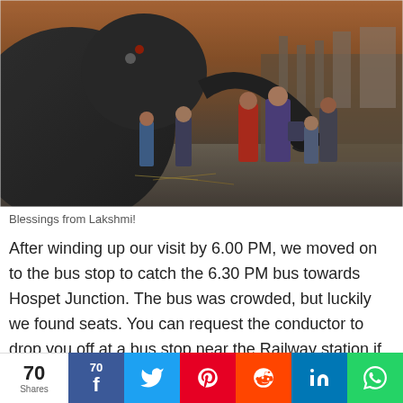[Figure (photo): An elephant extending its trunk toward a group of visitors/devotees, apparently at a temple in India. People stand close to the elephant receiving blessings. The scene is set in a stone temple courtyard with dramatic HDR-style photography.]
Blessings from Lakshmi!
After winding up our visit by 6.00 PM, we moved on to the bus stop to catch the 6.30 PM bus towards Hospet Junction. The bus was crowded, but luckily we found seats. You can request the conductor to drop you off at a bus stop near the Railway station if you are taking the train. With beautiful memories of trul... to